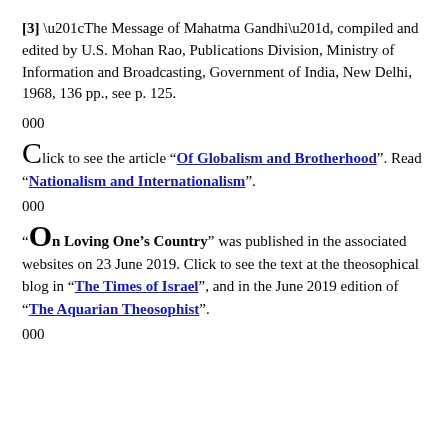[3] “The Message of Mahatma Gandhi”, compiled and edited by U.S. Mohan Rao, Publications Division, Ministry of Information and Broadcasting, Government of India, New Delhi, 1968, 136 pp., see p. 125.
000
Click to see the article “Of Globalism and Brotherhood”. Read “Nationalism and Internationalism”.
000
“On Loving One’s Country” was published in the associated websites on 23 June 2019. Click to see the text at the theosophical blog in “The Times of Israel”, and in the June 2019 edition of “The Aquarian Theosophist”.
000